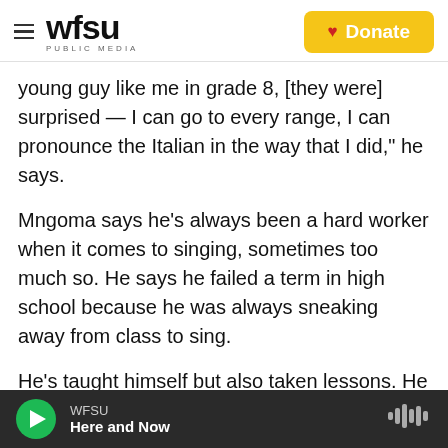WFSU PUBLIC MEDIA | Donate
young guy like me in grade 8, [they were] surprised — I can go to every range, I can pronounce the Italian in the way that I did," he says.
Mngoma says he's always been a hard worker when it comes to singing, sometimes too much so. He says he failed a term in high school because he was always sneaking away from class to sing.
He's taught himself but also taken lessons. He says he practices about 2 hours a day four times a week.
After high school, Mngoma moved to Durban in
WFSU
Here and Now